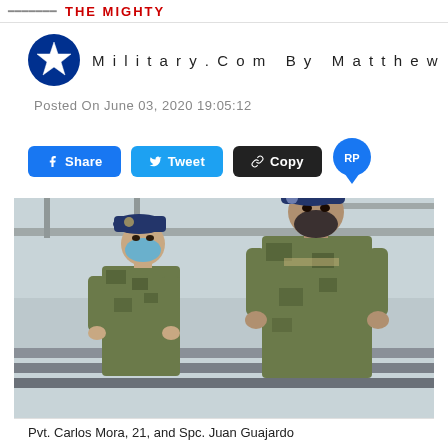THE MIGHTY
Military.Com By Matthew Cox
Posted On June 03, 2020 19:05:12
Share   Tweet   Copy   RP
[Figure (photo): Two soldiers in camouflage uniforms and blue berets standing in front of chain-link fence. The soldier on the left wears a blue face mask. The soldier on the right is taller and stands with hands behind back.]
Pvt. Carlos Mora, 21, and Spc. Juan Guajardo